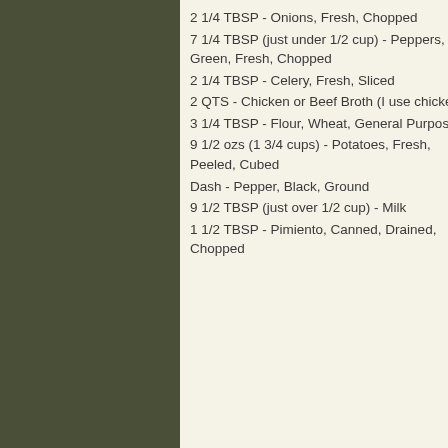2 1/4 TBSP - Onions, Fresh, Chopped
7 1/4 TBSP (just under 1/2 cup) - Peppers, Green, Fresh, Chopped
2 1/4 TBSP - Celery, Fresh, Sliced
2 QTS - Chicken or Beef Broth (I use chicken)
3 1/4 TBSP - Flour, Wheat, General Purpose
9 1/2 ozs (1 3/4 cups) - Potatoes, Fresh, Peeled, Cubed
Dash - Pepper, Black, Ground
9 1/2 TBSP (just over 1/2 cup) - Milk
1 1/2 TBSP - Pimiento, Canned, Drained, Chopped
vegetables in butter 10 minutes. Do not brown. 2. Remove vegetables from fat; set aside for use in Step 3 and vegetables aside for use in Step 4. 3. Prepare broth according to package directions. 4. Blend fat and flour together; stir until